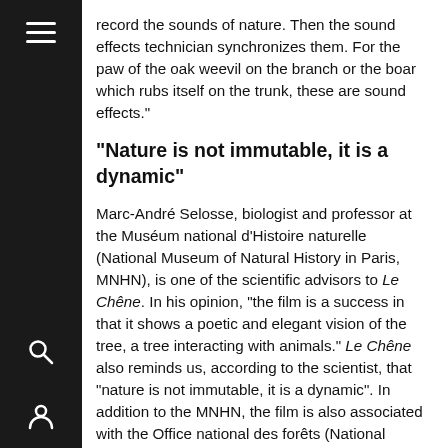record the sounds of nature. Then the sound effects technician synchronizes them. For the paw of the oak weevil on the branch or the boar which rubs itself on the trunk, these are sound effects."
“Nature is not immutable, it is a dynamic”
Marc-André Selosse, biologist and professor at the Muséum national d’Histoire naturelle (National Museum of Natural History in Paris, MNHN), is one of the scientific advisors to Le Chêne. In his opinion, “the film is a success in that it shows a poetic and elegant vision of the tree, a tree interacting with animals.” Le Chêne also reminds us, according to the scientist, that “nature is not immutable, it is a dynamic”. In addition to the MNHN, the film is also associated with the Office national des forêts (National Forestry Office) and UNESCO, among others, and is accompanied by environmental education actions aimed at children.